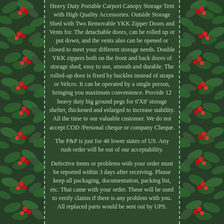Heavy Duty Portable Carport Canopy Storage Tent with High Quality Accessories. Outside Storage Shed with Two Removable YKK Zipper Doors and Vents for. The detachable doors, can be rolled up or put down, and the vents also can be opened or closed to meet your different storage needs. Double YKK zippers both on the front and back doors of storage shed, easy to use, smooth and durable. The rolled-up door is fixed by buckles instead of straps or Velcro. It can be operated by a single person, bringing you maximum convenience. Provide 12 heavy duty big ground pegs for 6'X8' storage shelter, thickened and enlarged to increase stability. All the time to our valuable customer. We do not accept COD /Personal cheque or company Cheque.
The P&P is just for 48 lower states of US. Any rush order will be out of our acceptability.
Defective items or problems with your order must be reported within 3 days after receiving. Please keep all packaging, documentation, packing list, etc. That came with your order. These will be used to verify claims if there is any problem with you. All replaced parts would be sent out by UPS.